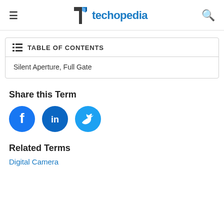techopedia
TABLE OF CONTENTS
Silent Aperture, Full Gate
Share this Term
[Figure (logo): Facebook, LinkedIn, and Twitter social share icons]
Related Terms
Digital Camera